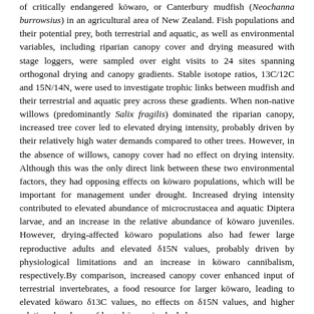of critically endangered kōwaro, or Canterbury mudfish (Neochanna burrowsius) in an agricultural area of New Zealand. Fish populations and their potential prey, both terrestrial and aquatic, as well as environmental variables, including riparian canopy cover and drying measured with stage loggers, were sampled over eight visits to 24 sites spanning orthogonal drying and canopy gradients. Stable isotope ratios, 13C/12C and 15N/14N, were used to investigate trophic links between mudfish and their terrestrial and aquatic prey across these gradients. When non-native willows (predominantly Salix fragilis) dominated the riparian canopy, increased tree cover led to elevated drying intensity, probably driven by their relatively high water demands compared to other trees. However, in the absence of willows, canopy cover had no effect on drying intensity. Although this was the only direct link between these two environmental factors, they had opposing effects on kōwaro populations, which will be important for management under drought. Increased drying intensity contributed to elevated abundance of microcrustacea and aquatic Diptera larvae, and an increase in the relative abundance of kōwaro juveniles. However, drying-affected kōwaro populations also had fewer large reproductive adults and elevated δ15N values, probably driven by physiological limitations and an increase in kōwaro cannibalism, respectively.By comparison, increased canopy cover enhanced input of terrestrial invertebrates, a food resource for larger kōwaro, leading to elevated kōwaro δ13C values, no effects on δ15N values, and higher relative abundance of large kōwaro in shaded